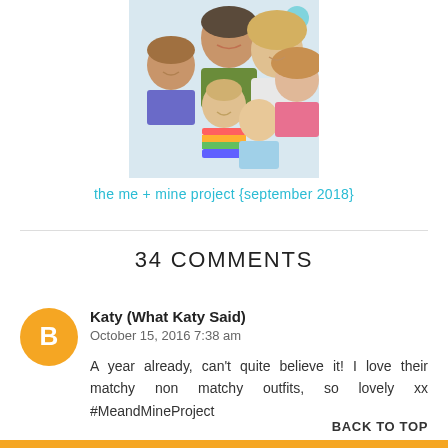[Figure (photo): Family photo showing two adults and four children huddled together smiling, cropped at top]
the me + mine project {september 2018}
34 COMMENTS
[Figure (logo): Orange circle with white Blogger 'B' logo avatar]
Katy (What Katy Said)
October 15, 2016 7:38 am
A year already, can't quite believe it! I love their matchy non matchy outfits, so lovely xx #MeandMineProject
BACK TO TOP